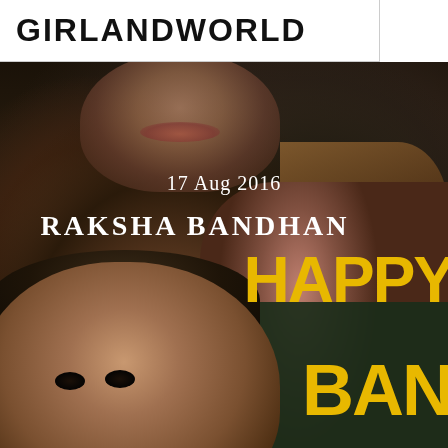GIRLANDWORLD
[Figure (photo): Photo of two children - a boy in the foreground and a girl behind him, with text overlay reading '17 Aug 2016 RAKSHA BANDHAN HAPPY BAN[DHAN]' in white and gold/yellow letters on a dark background]
17 Aug 2016
RAKSHA BANDHAN
HAPPY
BAN